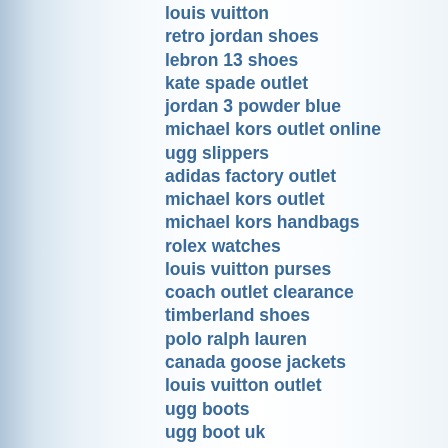louis vuitton
retro jordan shoes
lebron 13 shoes
kate spade outlet
jordan 3 powder blue
michael kors outlet online
ugg slippers
adidas factory outlet
michael kors outlet
michael kors handbags
rolex watches
louis vuitton purses
coach outlet clearance
timberland shoes
polo ralph lauren
canada goose jackets
louis vuitton outlet
ugg boots
ugg boot uk
ladies cartier watches
nike roshe one
gucci outlet online
ralph lauren polo
coach outlet store